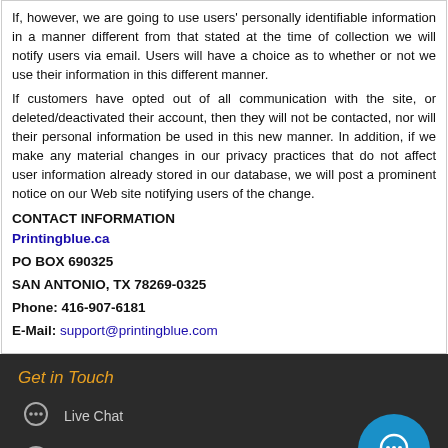If, however, we are going to use users' personally identifiable information in a manner different from that stated at the time of collection we will notify users via email. Users will have a choice as to whether or not we use their information in this different manner. If customers have opted out of all communication with the site, or deleted/deactivated their account, then they will not be contacted, nor will their personal information be used in this new manner. In addition, if we make any material changes in our privacy practices that do not affect user information already stored in our database, we will post a prominent notice on our Web site notifying users of the change.
CONTACT INFORMATION
Printingblue.ca
PO BOX 690325
SAN ANTONIO, TX 78269-0325
Phone: 416-907-6181
E-Mail: support@printingblue.com
Get in Touch
Live Chat
416-907-6181
support@printingblue.com